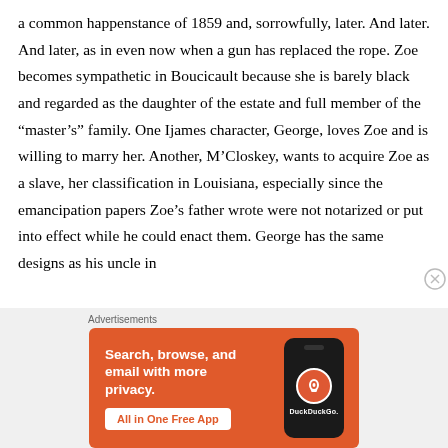a common happenstance of 1859 and, sorrowfully, later. And later. And later, as in even now when a gun has replaced the rope. Zoe becomes sympathetic in Boucicault because she is barely black and regarded as the daughter of the estate and full member of the “master’s” family. One Ijames character, George, loves Zoe and is willing to marry her. Another, M’Closkey, wants to acquire Zoe as a slave, her classification in Louisiana, especially since the emancipation papers Zoe’s father wrote were not notarized or put into effect while he could enact them. George has the same designs as his uncle in
[Figure (infographic): DuckDuckGo advertisement banner with orange background. Text reads: 'Search, browse, and email with more privacy. All in One Free App'. Shows a smartphone with DuckDuckGo logo. Labeled 'Advertisements' above.]